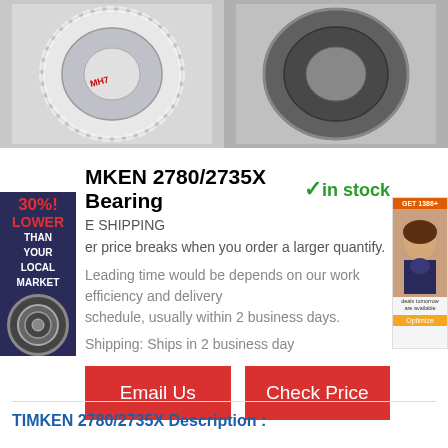[Figure (photo): Two product images side by side: left shows a TIMKEN bearing ring with plastic wrap, right shows a dark-colored TIMKEN bearing]
[Figure (infographic): Side badge: 30% LOWER THAN YOUR LOCAL MARKET with a bearing icon]
[Figure (photo): Advertisement banner on right side showing a woman's face with orange button]
TIMKEN 2780/2735X Bearing ✓in stock
E SHIPPING
er price breaks when you order a larger quantify.
Leading time would be depends on our work efficiency and delivery schedule, usually within 2 business days.
Shipping: Ships in 2 business day
Email Us
Check Price
TIMKEN 2780/2735X Description :